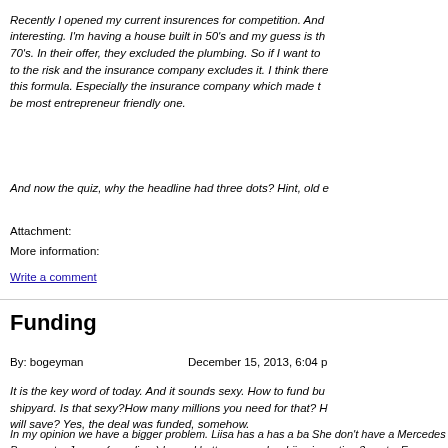Recently I opened my current insurences for competition. And interesting. I'm having a house built in 50's and my guess is the 70's. In their offer, they excluded the plumbing. So if I want to the risk and the insurance company excludes it. I think there this formula. Especially the insurance company which made be most entrepreneur friendly one.
And now the quiz, why the headline had three dots? Hint, old e
Attachment:
More information:
Write a comment
Funding
By: bogeyman                                    December 15, 2013, 6:04 p
It is the key word of today. And it sounds sexy. How to fund bu shipyard. Is that sexy?How many millions you need for that? H will save? Yes, the deal was funded, somehow.
In my opinion we have a bigger problem. Liisa has a has a ba She don't have a Mercedes Benz, not a Jaguar (poor lissy) bu and butter, every day. Liisa is renting 3 seats. Everyone gets th